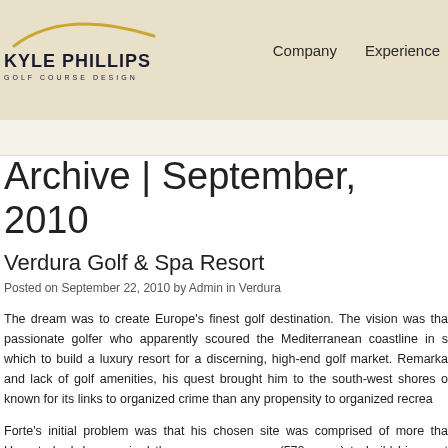Kyle Phillips Golf Course Design — Company | Experience
Archive | September, 2010
Verdura Golf & Spa Resort
Posted on September 22, 2010 by Admin in Verdura
The dream was to create Europe's finest golf destination. The vision was tha passionate golfer who apparently scoured the Mediterranean coastline in s which to build a luxury resort for a discerning, high-end golf market. Remarka and lack of golf amenities, his quest brought him to the south-west shores o known for its links to organized crime than any propensity to organized recrea
Forte's initial problem was that his chosen site was comprised of more tha Unperturbed, he acquired the necessary space (570 acres) to build his great Kyle Phillips to create a golf-centred Masterplan that would include two ful